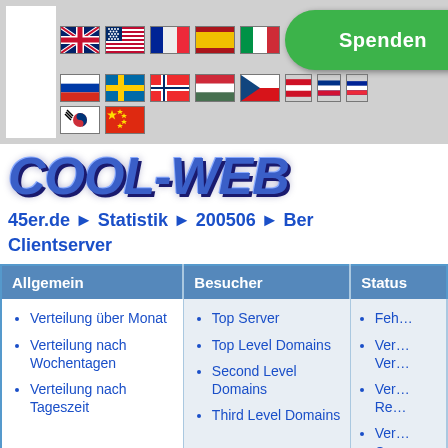[Figure (screenshot): Flags of various countries in two rows, and a green 'Spenden' donation button]
COOL-WEB
45er.de ► Statistik ► 200506 ► Ber Clientserver
| Allgemein | Besucher | Status |
| --- | --- | --- |
| • Verteilung über Monat
• Verteilung nach Wochentagen
• Verteilung nach Tageszeit | • Top Server
• Top Level Domains
• Second Level Domains
• Third Level Domains | • Feh...
• Ver... Ver...
• Ver... Re...
• Ver... Co... |